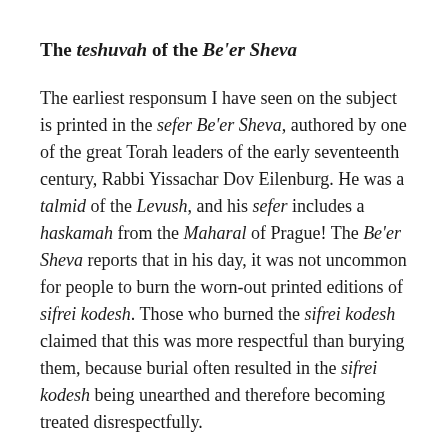The teshuvah of the Be'er Sheva
The earliest responsum I have seen on the subject is printed in the sefer Be'er Sheva, authored by one of the great Torah leaders of the early seventeenth century, Rabbi Yissachar Dov Eilenburg. He was a talmid of the Levush, and his sefer includes a haskamah from the Maharal of Prague! The Be'er Sheva reports that in his day, it was not uncommon for people to burn the worn-out printed editions of sifrei kodesh. Those who burned the sifrei kodesh claimed that this was more respectful than burying them, because burial often resulted in the sifrei kodesh being unearthed and therefore becoming treated disrespectfully.
The Be'er Sheva takes strong issue with this approach, noting that it is prohibited to destroy any